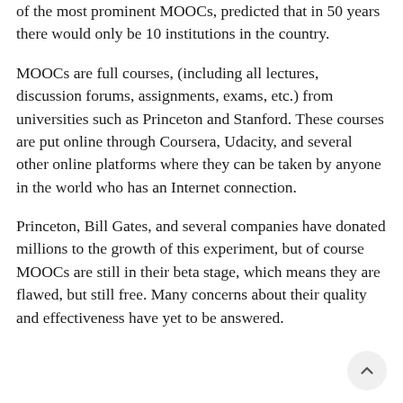of the most prominent MOOCs, predicted that in 50 years there would only be 10 institutions in the country.
MOOCs are full courses, (including all lectures, discussion forums, assignments, exams, etc.) from universities such as Princeton and Stanford. These courses are put online through Coursera, Udacity, and several other online platforms where they can be taken by anyone in the world who has an Internet connection.
Princeton, Bill Gates, and several companies have donated millions to the growth of this experiment, but of course MOOCs are still in their beta stage, which means they are flawed, but still free. Many concerns about their quality and effectiveness have yet to be answered.